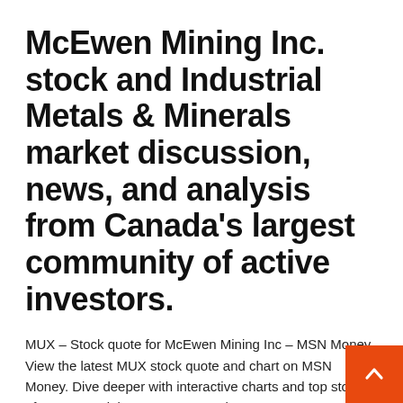McEwen Mining Inc. stock and Industrial Metals & Minerals market discussion, news, and analysis from Canada's largest community of active investors.
MUX – Stock quote for McEwen Mining Inc – MSN Money View the latest MUX stock quote and chart on MSN Money. Dive deeper with interactive charts and top stories of McEwen Mining Inc. MUX Stock Quote - McEwen Mining, Inc. Stock Price Today MUX stock quote, chart and news. Get McEwen Mining Inc.'s stock price today.